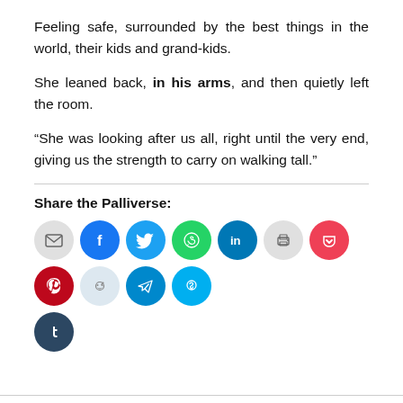Feeling safe, surrounded by the best things in the world, their kids and grand-kids.
She leaned back, in his arms, and then quietly left the room.
“She was looking after us all, right until the very end, giving us the strength to carry on walking tall.”
Share the Palliverse:
[Figure (infographic): Row of social media share icon circles: email (gray), Facebook (blue), Twitter (cyan), WhatsApp (green), LinkedIn (dark blue), Print (gray), Pocket (red), Pinterest (dark red), Reddit (light blue), Telegram (blue), Skype (light blue), and Tumblr (dark navy) on second row.]